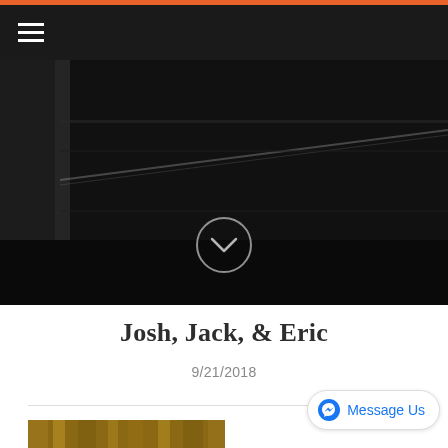[Figure (screenshot): Orange top bar and dark navigation bar with hamburger menu icon (three white horizontal lines)]
[Figure (photo): Dark hero image showing a dimly lit industrial or tunnel scene with diagonal light beam, and a circular chevron-down button overlay in the lower center]
Josh, Jack, & Eric
9/21/2018
[Figure (screenshot): Message Us button with Facebook Messenger icon at the bottom right]
[Figure (photo): Partial bottom image with warm wooden/orange tones, partially cut off]